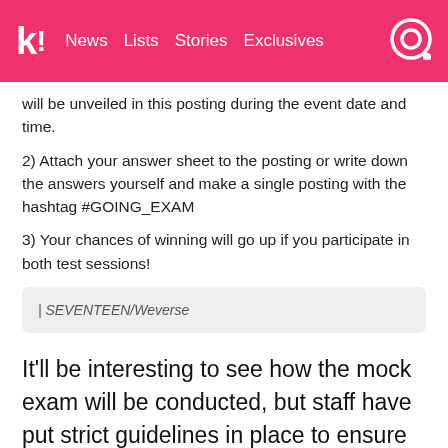k! News Lists Stories Exclusives
will be unveiled in this posting during the event date and time.
2) Attach your answer sheet to the posting or write down the answers yourself and make a single posting with the hashtag #GOING_EXAM
3) Your chances of winning will go up if you participate in both test sessions!
| SEVENTEEN/Weverse
It'll be interesting to see how the mock exam will be conducted, but staff have put strict guidelines in place to ensure a hopefully smooth process.